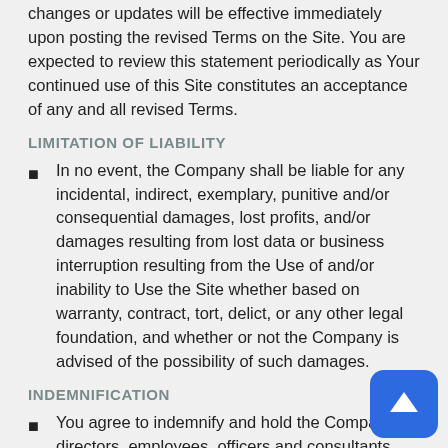changes or updates will be effective immediately upon posting the revised Terms on the Site. You are expected to review this statement periodically as Your continued use of this Site constitutes an acceptance of any and all revised Terms.
LIMITATION OF LIABILITY
In no event, the Company shall be liable for any incidental, indirect, exemplary, punitive and/or consequential damages, lost profits, and/or damages resulting from lost data or business interruption resulting from the Use of and/or inability to Use the Site whether based on warranty, contract, tort, delict, or any other legal foundation, and whether or not the Company is advised of the possibility of such damages.
INDEMNIFICATION
You agree to indemnify and hold the Company, its directors, employees, officers and consultants, harmless from any and all claims, expenses, demands or damages,